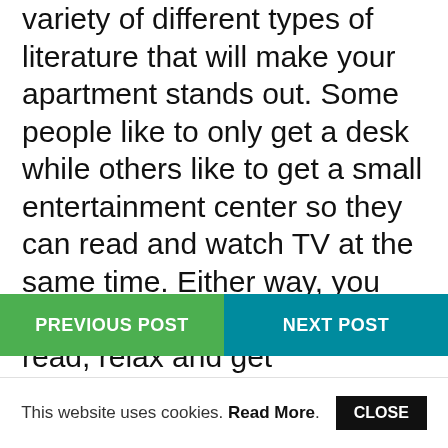variety of different types of literature that will make your apartment stands out. Some people like to only get a desk while others like to get a small entertainment center so they can read and watch TV at the same time. Either way, you will have the perfect spot to read, relax and get entertained at all times of the day. So take some time and consider the options that are available to you and what will be best for you.
PREVIOUS POST | NEXT POST
This website uses cookies. Read More. CLOSE